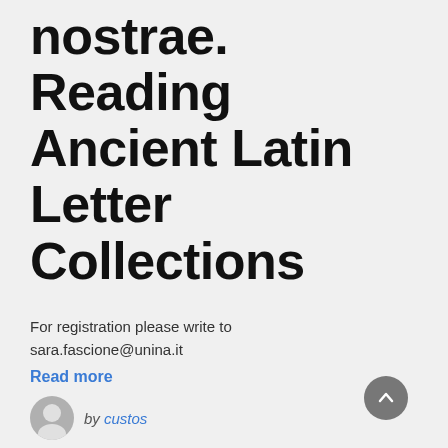nostrae. Reading Ancient Latin Letter Collections
For registration please write to sara.fascione@unina.it
Read more
by custos